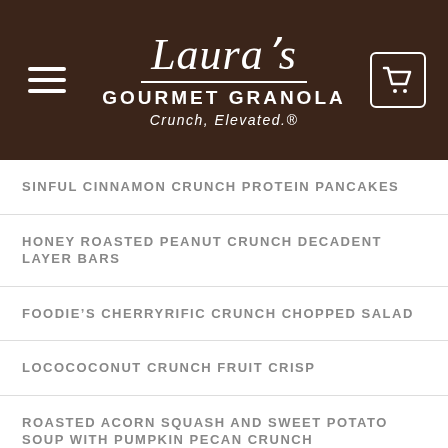Laura's GOURMET GRANOLA Crunch, Elevated.
SINFUL CINNAMON CRUNCH PROTEIN PANCAKES
HONEY ROASTED PEANUT CRUNCH DECADENT LAYER BARS
FOODIE'S CHERRYRIFIC CRUNCH CHOPPED SALAD
LOCOCOCONUT CRUNCH FRUIT CRISP
ROASTED ACORN SQUASH AND SWEET POTATO SOUP WITH PUMPKIN PECAN CRUNCH
VANILLA ALMOND CRUNCH TOFFEE BARS